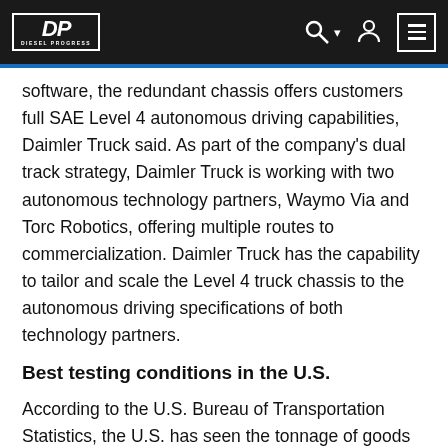Diesel Progress
software, the redundant chassis offers customers full SAE Level 4 autonomous driving capabilities, Daimler Truck said. As part of the company's dual track strategy, Daimler Truck is working with two autonomous technology partners, Waymo Via and Torc Robotics, offering multiple routes to commercialization. Daimler Truck has the capability to tailor and scale the Level 4 truck chassis to the autonomous driving specifications of both technology partners.
Best testing conditions in the U.S.
According to the U.S. Bureau of Transportation Statistics, the U.S. has seen the tonnage of goods shipped by trucks increase by 56% in the past decade. This number is expected to nearly double in the next two and a half decades. At the same time, the trucking